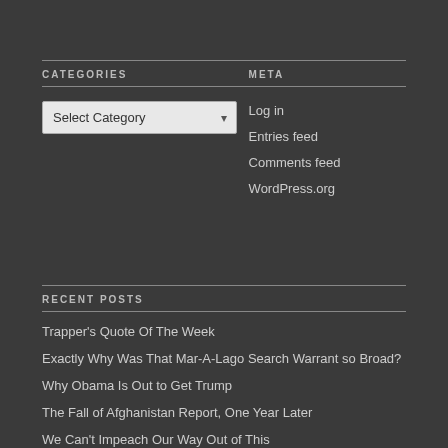CATEGORIES
Select Category (dropdown)
META
Log in
Entries feed
Comments feed
WordPress.org
RECENT POSTS
Trapper's Quote Of The Week
Exactly Why Was That Mar-A-Lago Search Warrant so Broad?
Why Obama Is Out to Get Trump
The Fall of Afghanistan Report, One Year Later
We Can't Impeach Our Way Out of This